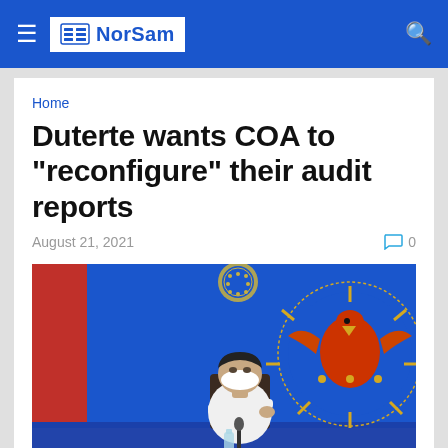NorSam
Home
Duterte wants COA to "reconfigure" their audit reports
August 21, 2021  0
[Figure (photo): Photo of President Duterte seated at a desk, wearing a white mask, gesturing with his right hand, with Philippine flags and presidential seal in the background]